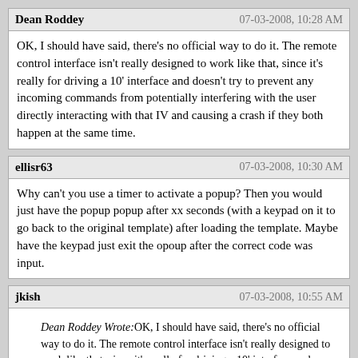Dean Roddey | 07-03-2008, 10:28 AM
OK, I should have said, there's no official way to do it. The remote control interface isn't really designed to work like that, since it's really for driving a 10' interface and doesn't try to prevent any incoming commands from potentially interfering with the user directly interacting with that IV and causing a crash if they both happen at the same time.
ellisr63 | 07-03-2008, 10:30 AM
Why can't you use a timer to activate a popup? Then you would just have the popup popup after xx seconds (with a keypad on it to go back to the original template) after loading the template. Maybe have the keypad just exit the opoup after the correct code was input.
jkish | 07-03-2008, 10:55 AM
Dean Roddey Wrote:OK, I should have said, there's no official way to do it. The remote control interface isn't really designed to work like that, since it's really for driving a 10' interface and doesn't try to prevent any incoming commands from potentially interfering with the user directly interacting with that IV and causing a crash if they both happen at the same time.
I knew this wasn't the official way to do this, but it works and solves my problems for now.